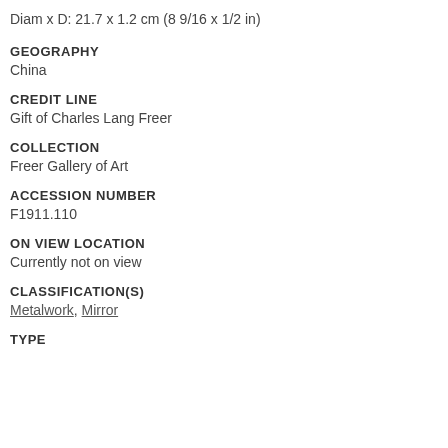Diam x D: 21.7 x 1.2 cm (8 9/16 x 1/2 in)
GEOGRAPHY
China
CREDIT LINE
Gift of Charles Lang Freer
COLLECTION
Freer Gallery of Art
ACCESSION NUMBER
F1911.110
ON VIEW LOCATION
Currently not on view
CLASSIFICATION(S)
Metalwork, Mirror
TYPE